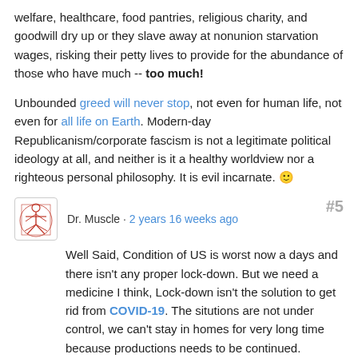welfare, healthcare, food pantries, religious charity, and goodwill dry up or they slave away at nonunion starvation wages, risking their petty lives to provide for the abundance of those who have much -- too much!
Unbounded greed will never stop, not even for human life, not even for all life on Earth. Modern-day Republicanism/corporate fascism is not a legitimate political ideology at all, and neither is it a healthy worldview nor a righteous personal philosophy. It is evil incarnate. 🙂
Dr. Muscle · 2 years 16 weeks ago #5
Well Said, Condition of US is worst now a days and there isn't any proper lock-down. But we need a medicine I think, Lock-down isn't the solution to get rid from COVID-19. The situtions are not under control, we can't stay in homes for very long time because productions needs to be continued. Economy of many countries goes down in this period. Hope for the best in this month.